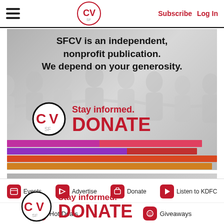CV SF | Subscribe | Log In
[Figure (illustration): SFCV donate banner with paper people silhouettes, CV logo, 'Stay informed. DONATE', and colored bars]
[Figure (illustration): Smaller SFCV donate banner with CV logo and 'Stay informed. DONATE']
Events | Advertise | Donate | Listen to KDFC | Hot Deals | Giveaways